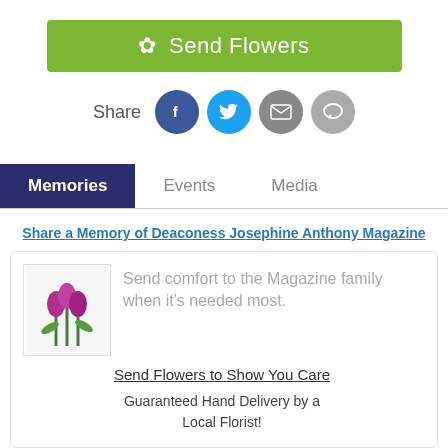[Figure (other): Green 'Send Flowers' button with flower icon]
Share
[Figure (other): Social share icons: Facebook, Twitter, Email, Message]
Memories   Events   Media
Share a Memory of Deaconess Josephine Anthony Magazine
Send comfort to the Magazine family when it's needed most.
Send Flowers to Show You Care
Guaranteed Hand Delivery by a Local Florist!